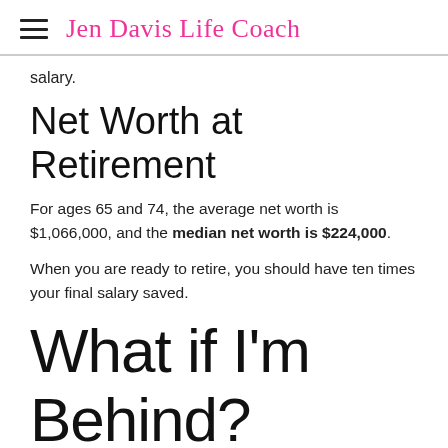Jen Davis Life Coach
salary.
Net Worth at Retirement
For ages 65 and 74, the average net worth is $1,066,000, and the median net worth is $224,000.
When you are ready to retire, you should have ten times your final salary saved.
What if I'm Behind?